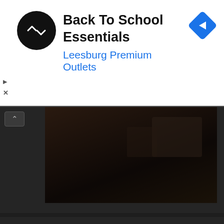[Figure (screenshot): Advertisement banner: Black circular logo with double arrow symbol, text 'Back To School Essentials' in bold black, 'Leesburg Premium Outlets' in blue, blue diamond navigation icon on right. Small play and X controls on left edge.]
[Figure (screenshot): Collapsed dark video section with collapse/expand arrow button on left and dark video thumbnail on right showing a dimly lit scene.]
[Figure (screenshot): Oakland Sports Forum Videos section on dark background with red label banner reading 'Oakland Sports Forum Videos' and embedded YouTube video player showing a man's face with YouTube play button overlay, channel icon, title 'Oakland Sport...' and playlist/menu icons.]